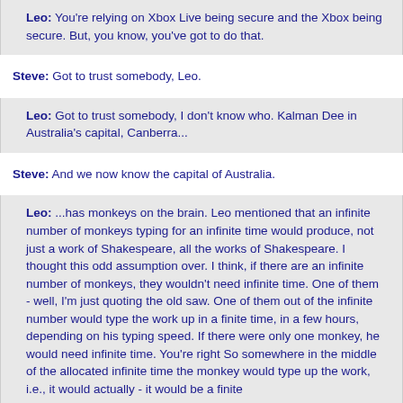Leo: You're relying on Xbox Live being secure and the Xbox being secure. But, you know, you've got to do that.
Steve: Got to trust somebody, Leo.
Leo: Got to trust somebody, I don't know who. Kalman Dee in Australia's capital, Canberra...
Steve: And we now know the capital of Australia.
Leo: ...has monkeys on the brain. Leo mentioned that an infinite number of monkeys typing for an infinite time would produce, not just a work of Shakespeare, all the works of Shakespeare. I thought this odd assumption over. I think, if there are an infinite number of monkeys, they wouldn't need infinite time. One of them - well, I'm just quoting the old saw. One of them out of the infinite number would type the work up in a finite time, in a few hours, depending on his typing speed. If there were only one monkey, he would need infinite time. You're right So somewhere in the middle of the allocated infinite time the monkey would type up the work, i.e., it would actually - it would be a finite

time. So he could stop and get on with his life. The old paradigm could be modified to "one or more monkeys typing for an unknowably long but finite period of time would produce a work of Shakespeare" - it actually, it would definitely produce a work of